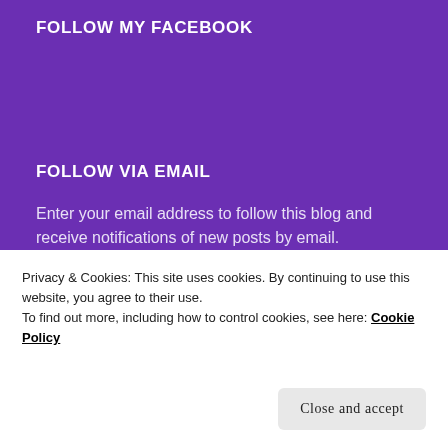FOLLOW MY FACEBOOK
FOLLOW VIA EMAIL
Enter your email address to follow this blog and receive notifications of new posts by email.
Enter your email address
FOLLOW
Privacy & Cookies: This site uses cookies. By continuing to use this website, you agree to their use.
To find out more, including how to control cookies, see here: Cookie Policy
Close and accept